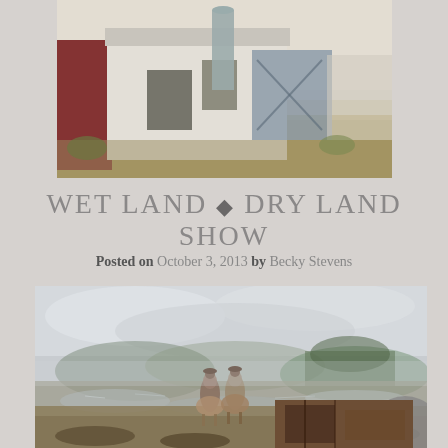[Figure (illustration): Watercolor painting of a white barn with green surroundings, partial view cropped at top of page]
WET LAND ◆ DRY LAND SHOW
Posted on October 3, 2013 by Becky Stevens
[Figure (illustration): Watercolor painting of two horseback riders crossing a wetland with misty mountains and cloudy sky in the background]
[Figure (illustration): Small partial painting visible at lower right corner, dark warm tones]